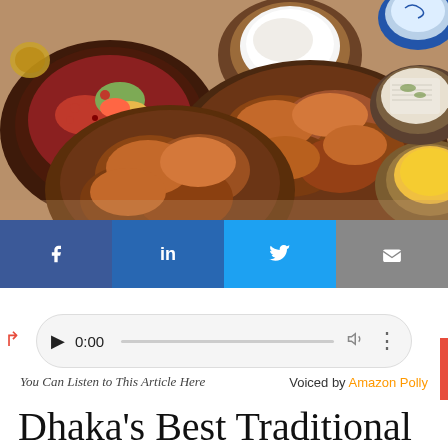[Figure (photo): Top-down food photography showing multiple bowls and plates of Bangladeshi dishes including fried chicken/fritters, salad with pomegranate seeds, white yogurt/raita sauce, yellow dipping sauce, and rice dish, arranged on a wooden table.]
[Figure (infographic): Social media share buttons row: Facebook (blue with f icon), LinkedIn (blue with in), Twitter (blue with bird icon), Email (gray with envelope icon).]
[Figure (other): Audio player widget with play button, time display showing 0:00, progress bar, volume icon, and more options icon. Red arrow annotation pointing to player.]
You Can Listen to This Article Here                    Voiced by Amazon Polly
Dhaka's Best Traditional Bangladeshi Meals on